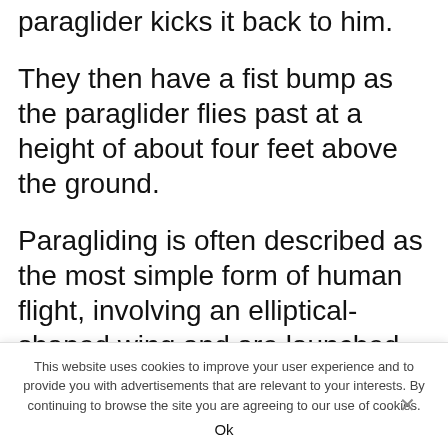The guy then throws the ball and the paraglider kicks it back to him.
They then have a fist bump as the paraglider flies past at a height of about four feet above the ground.
Paragliding is often described as the most simple form of human flight, involving an elliptical-shaped wing and are launched from the ground.
This website uses cookies to improve your user experience and to provide you with advertisements that are relevant to your interests. By continuing to browse the site you are agreeing to our use of cookies.
Ok